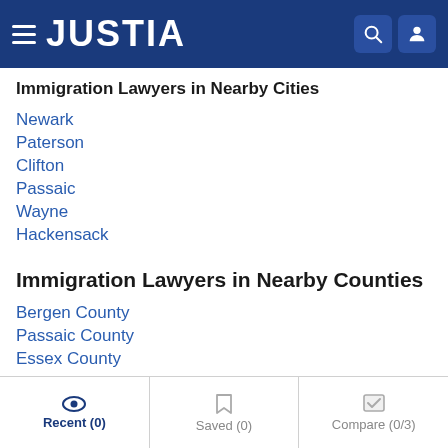JUSTIA
Immigration Lawyers in Nearby Cities
Newark
Paterson
Clifton
Passaic
Wayne
Hackensack
Immigration Lawyers in Nearby Counties
Bergen County
Passaic County
Essex County
Recent (0)  Saved (0)  Compare (0/3)